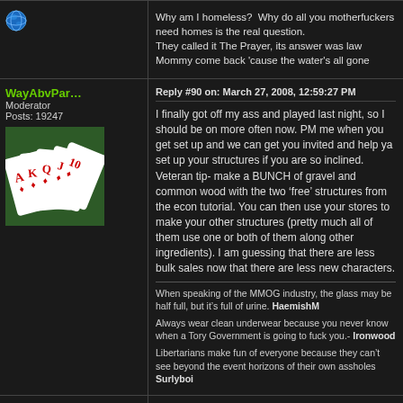Why am I homeless?  Why do all you motherfuckers need homes is the real question.
They called it The Prayer, its answer was law
Mommy come back 'cause the water's all gone
WayAbvPar
Moderator
Posts: 19247
Reply #90 on: March 27, 2008, 12:59:27 PM
[Figure (photo): Playing cards (poker hand) on a green surface]
I finally got off my ass and played last night, so I should be on more often now. PM me when you get set up and we can get you invited and help ya set up your structures if you are so inclined. Veteran tip- make a BUNCH of gravel and common wood with the two ‘free’ structures from the econ tutorial. You can then use your stores to make your other structures (pretty much all of them use one or both of them along other ingredients). I am guessing that there are less bulk sales now that there are less new characters.
When speaking of the MMOG industry, the glass may be half full, but it’s full of urine. HaemishM
Always wear clean underwear because you never know when a Tory Government is going to fuck you.- Ironwood
Libertarians make fun of everyone because they can’t see beyond the event horizons of their own assholes Surlyboi
Yegolev
Moderator
Reply #91 on: March 27, 2008, 01:03:08 PM